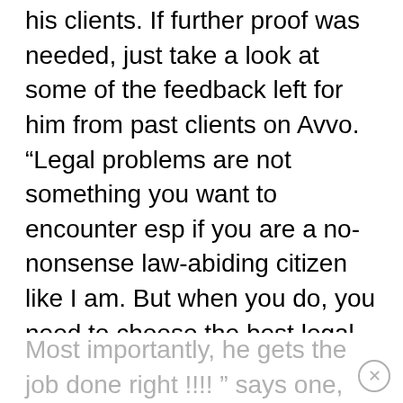his clients. If further proof was needed, just take a look at some of the feedback left for him from past clients on Avvo. “Legal problems are not something you want to encounter esp if you are a no-nonsense law-abiding citizen like I am. But when you do, you need to choose the best legal mind available. When I hired Mr. Kevin, I knew he had the expertise, knowledge, and familiarity with how things are done locally. He is smart, sharp, professional, and very respectful. Most importantly, he gets the job done right !!!! ” says one, clearly very happy